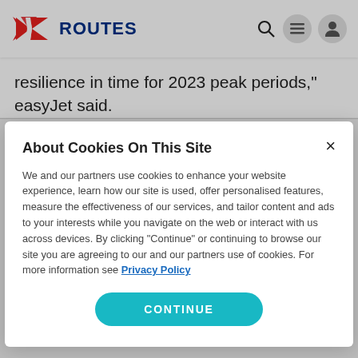ROUTES
resilience in time for 2023 peak periods," easyJet said.
About Cookies On This Site
We and our partners use cookies to enhance your website experience, learn how our site is used, offer personalised features, measure the effectiveness of our services, and tailor content and ads to your interests while you navigate on the web or interact with us across devices. By clicking "Continue" or continuing to browse our site you are agreeing to our and our partners use of cookies. For more information see Privacy Policy
CONTINUE